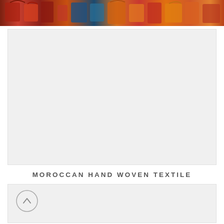[Figure (photo): Top portion of a photo showing colorful Moroccan leather bags and accessories hanging in a market stall — red, orange, teal, and brown bags]
[Figure (photo): Large light gray placeholder box representing a second photo (content not visible)]
MOROCCAN HAND WOVEN TEXTILE
[Figure (other): Light gray box with a circular back-to-top arrow button in the lower left]